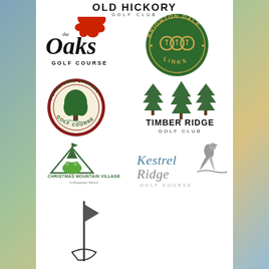[Figure (logo): Old Hickory Golf Club logo - bold black text with 'GOLF CLUB' subtitle]
[Figure (logo): The Oaks Golf Course logo - stylized script with red oak leaf]
[Figure (logo): Brighton Dale Links logo - circular green emblem with golf tee design]
[Figure (logo): Petrifying Springs Golf Course logo - circular emblem with tree]
[Figure (logo): Timber Ridge Golf Club logo - pine trees illustration with text]
[Figure (logo): Christmas Mountain Village - A Bluegreen Resort logo with mountain and frog]
[Figure (logo): Kestrel Ridge Golf Course logo with bird illustration]
[Figure (logo): Partial logo at bottom - abstract flag/golf shape]